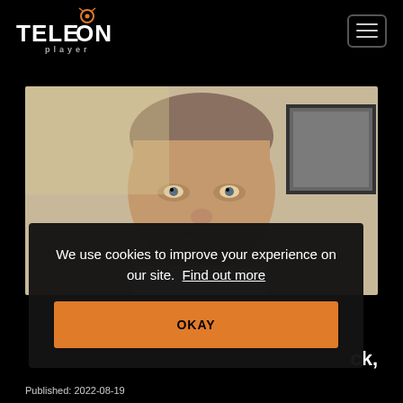[Figure (logo): TELEON player logo with orange antenna/play icon above the O]
[Figure (photo): Close-up photo of a middle-aged man looking at camera, framed artwork visible in background]
We use cookies to improve your experience on our site. Find out more
OKAY
ck,
Published: 2022-08-19